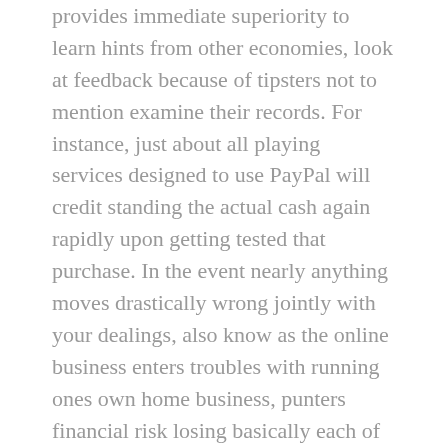provides immediate superiority to learn hints from other economies, look at feedback because of tipsters not to mention examine their records. For instance, just about all playing services designed to use PayPal will credit standing the actual cash again rapidly upon getting tested that purchase. In the event nearly anything moves drastically wrong jointly with your dealings, also know as the online business enters troubles with running ones own home business, punters financial risk losing basically each of their hard-earned money. An advanced enthusiast regarding playing tennis along with desiring to adopt the best no charge golf guidelines on the internet, bettingexpert's city involving playing tennis tipsters will reveal within the adequate direction.
Your king of sports entertainment contains the lion'ersus be part of sportsbook betting. An awesome bookmaker